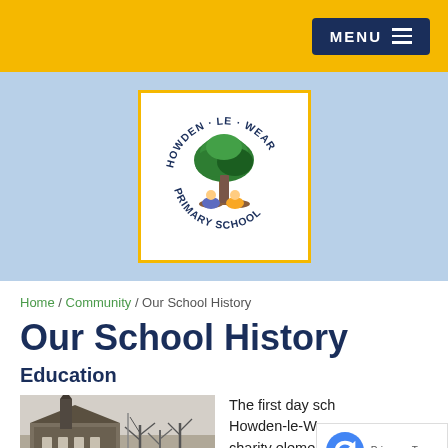MENU
[Figure (logo): Howden-le-Wear Primary School circular logo with a tree and two children, text reading HOWDEN - LE - WEAR PRIMARY SCHOOL, inside a yellow-bordered white box on a light blue background]
Home / Community / Our School History
Our School History
Education
[Figure (photo): Black and white historical photograph of a church or school building with a spire and bare trees in winter]
The first day sch... Howden-le-Wea... charity elementary